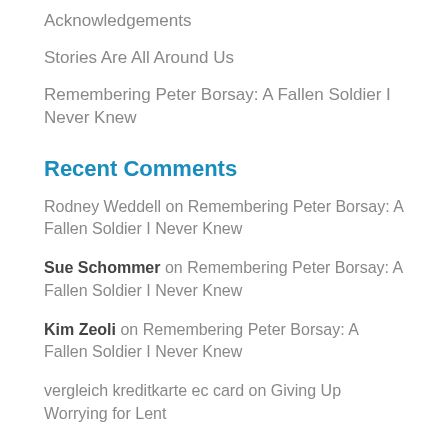Acknowledgements
Stories Are All Around Us
Remembering Peter Borsay: A Fallen Soldier I Never Knew
Recent Comments
Rodney Weddell on Remembering Peter Borsay: A Fallen Soldier I Never Knew
Sue Schommer on Remembering Peter Borsay: A Fallen Soldier I Never Knew
Kim Zeoli on Remembering Peter Borsay: A Fallen Soldier I Never Knew
vergleich kreditkarte ec card on Giving Up Worrying for Lent